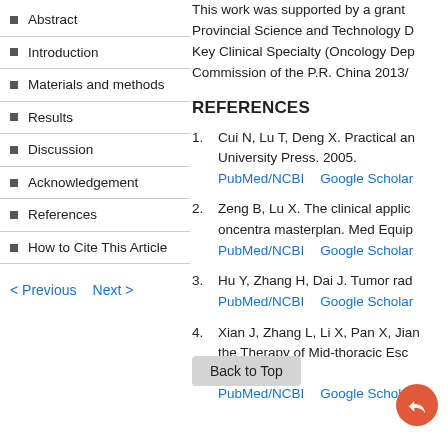Abstract
Introduction
Materials and methods
Results
Discussion
Acknowledgement
References
How to Cite This Article
< Previous   Next >
This work was supported by a grant Provincial Science and Technology D Key Clinical Specialty (Oncology Dep Commission of the P.R. China 2013/
REFERENCES
1. Cui N, Lu T, Deng X. Practical an University Press. 2005.
PubMed/NCBI   Google Scholar
2. Zeng B, Lu X. The clinical applic oncentra masterplan. Med Equip
PubMed/NCBI   Google Scholar
3. Hu Y, Zhang H, Dai J. Tumor rad
PubMed/NCBI   Google Scholar
4. Xian J, Zhang L, Li X, Pan X, Jian the Therapy of Mid-thoracic Esc 2.
PubMed/NCBI   Google Scholar